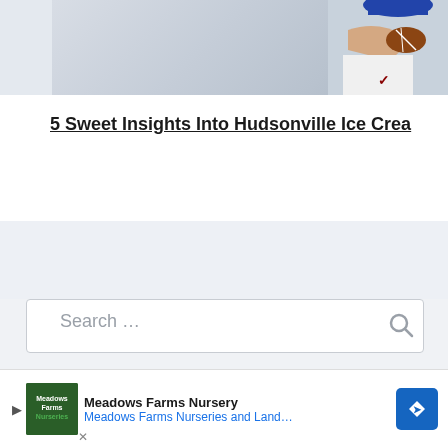[Figure (photo): Partial photo of a person in athletic wear holding a football, cropped at top of page]
5 Sweet Insights Into Hudsonville Ice Crea
Search …
TOPICS
Selec
[Figure (infographic): Advertisement banner for Meadows Farms Nursery with logo, text 'Meadows Farms Nurseries and Landsca', navigation icon, and close button]